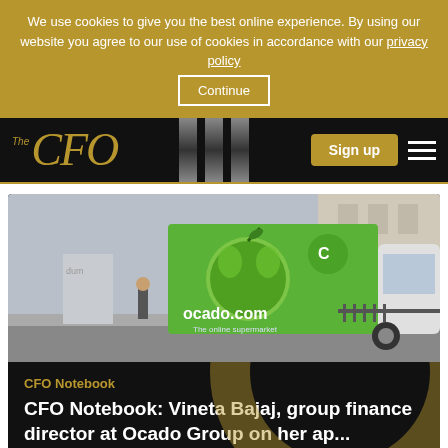We use cookies to give you the best online experience. By using our website you agree to our use of cookies in accordance with our privacy policy
Continue
The CFO
Sign up
[Figure (photo): Ocado.com branded green delivery van with apples graphic and 'The online supermarket' tagline, parked on a city street]
CFO Notebook
CFO Notebook: Vineta Bajaj, group finance director at Ocado Group on her ap...
Sign up to our Newsletter